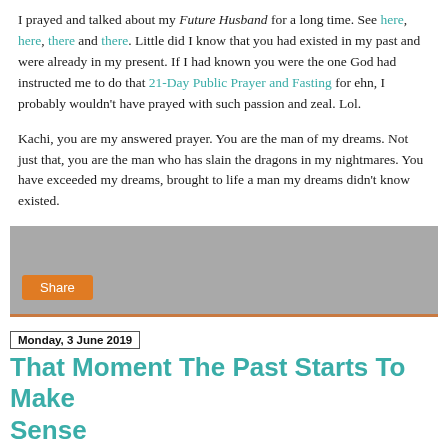I prayed and talked about my Future Husband for a long time. See here, here, there and there. Little did I know that you had existed in my past and were already in my present. If I had known you were the one God had instructed me to do that 21-Day Public Prayer and Fasting for ehn, I probably wouldn't have prayed with such passion and zeal. Lol.
Kachi, you are my answered prayer. You are the man of my dreams. Not just that, you are the man who has slain the dragons in my nightmares. You have exceeded my dreams, brought to life a man my dreams didn't know existed.
[Figure (other): Gray share widget box with an orange Share button at the bottom left and an orange bottom border]
Monday, 3 June 2019
That Moment The Past Starts To Make Sense
[Figure (illustration): Cursive signature or watermark text in red/pink]